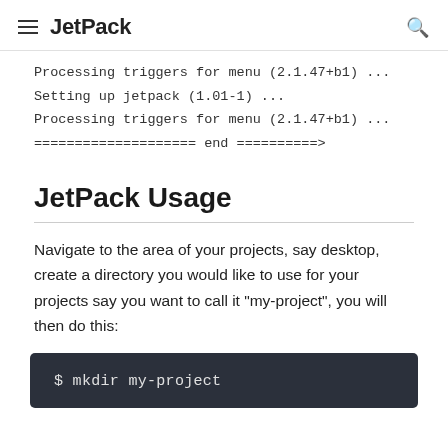JetPack
Processing triggers for menu (2.1.47+b1) ...
Setting up jetpack (1.01-1) ...
Processing triggers for menu (2.1.47+b1) ...
==================== end ==========>
JetPack Usage
Navigate to the area of your projects, say desktop, create a directory you would like to use for your projects say you want to call it "my-project", you will then do this:
$ mkdir my-project